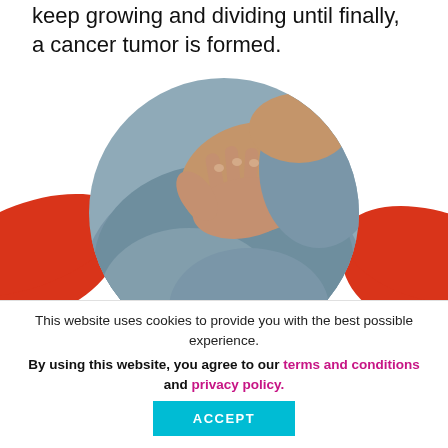keep growing and dividing until finally, a cancer tumor is formed.
[Figure (photo): Circular photo showing a person in a gray top touching their chest/breast area with one hand. Behind the circle are red decorative swoosh shapes.]
This website uses cookies to provide you with the best possible experience.
By using this website, you agree to our terms and conditions and privacy policy.
ACCEPT